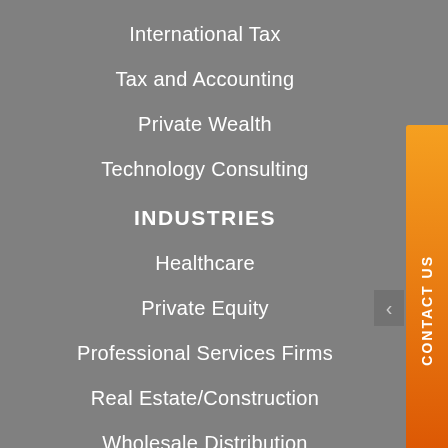International Tax
Tax and Accounting
Private Wealth
Technology Consulting
INDUSTRIES
Healthcare
Private Equity
Professional Services Firms
Real Estate/Construction
Wholesale Distribution
CONTACT US